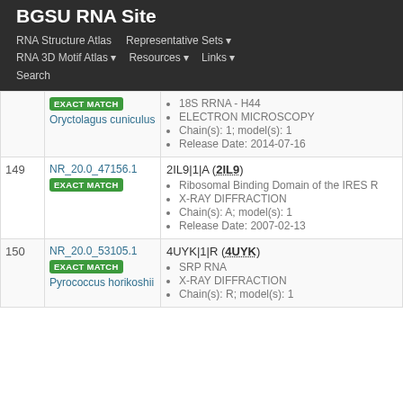BGSU RNA Site
RNA Structure Atlas | Representative Sets | RNA 3D Motif Atlas | Resources | Links | Search
| # | Set ID | Structure Info |
| --- | --- | --- |
|  | NR_20.0_47156.1 / EXACT MATCH / Oryctolagus cuniculus | 18S RRNA - H44 • ELECTRON MICROSCOPY • Chain(s): 1; model(s): 1 • Release Date: 2014-07-16 |
| 149 | NR_20.0_47156.1 / EXACT MATCH | 2IL9|1|A (2IL9) • Ribosomal Binding Domain of the IRES R • X-RAY DIFFRACTION • Chain(s): A; model(s): 1 • Release Date: 2007-02-13 |
| 150 | NR_20.0_53105.1 / EXACT MATCH / Pyrococcus horikoshii | 4UYK|1|R (4UYK) • SRP RNA • X-RAY DIFFRACTION • Chain(s): R; model(s): 1 |